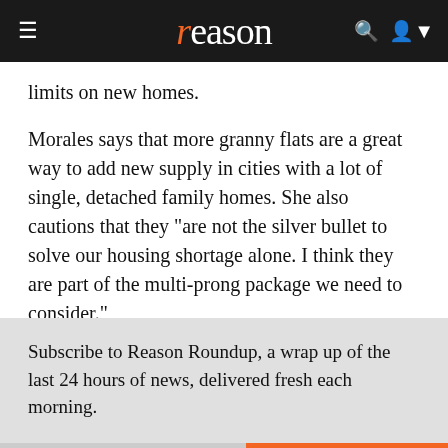reason
limits on new homes.
Morales says that more granny flats are a great way to add new supply in cities with a lot of single, detached family homes. She also cautions that they "are not the silver bullet to solve our housing shortage alone. I think they are part of the multi-prong package we need to consider."
Nevertheless, the past successes of ADU legislation in places like Los Angeles demonstrate how much new housing can be built when government gets out of the way.
Subscribe to Reason Roundup, a wrap up of the last 24 hours of news, delivered fresh each morning.